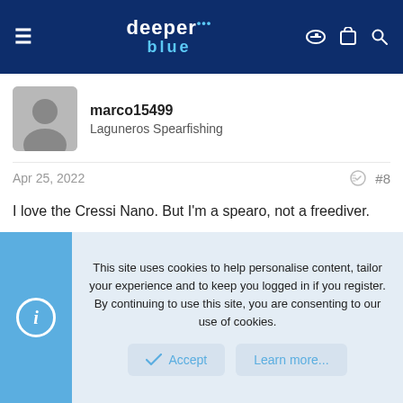deeper blue — website header with navigation icons
marco15499
Laguneros Spearfishing
Apr 25, 2022  #8
I love the Cressi Nano. But I'm a spearo, not a freediver.
AZ_Atypical
This site uses cookies to help personalise content, tailor your experience and to keep you logged in if you register.
By continuing to use this site, you are consenting to our use of cookies.